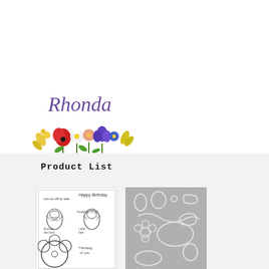[Figure (logo): Rhonda script logo with colorful flower arrangement beneath the text]
Product List
[Figure (illustration): Stamp set showing bee characters, Happy Birthday, Thank You sentiments and floral elements in black and white]
[Figure (illustration): Gray die cuts showing bee, flower, leaf and oval shapes on gray background]